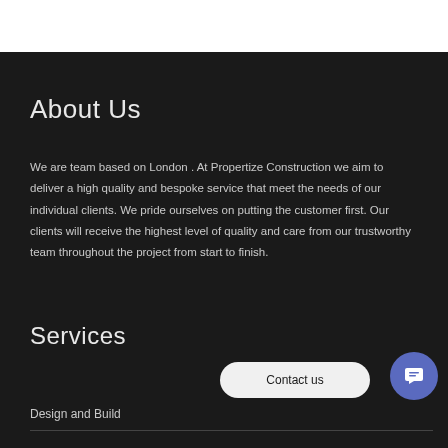About Us
We are team based on London . At Propertize Construction we aim to deliver a high quality and bespoke service that meet the needs of our individual clients. We pride ourselves on putting the customer first. Our clients will receive the highest level of quality and care from our trustworthy team throughout the project from start to finish.
Services
Contact us
Design and Build